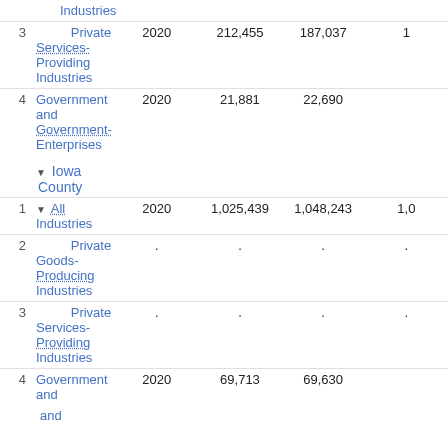| # | Industry | Year | Col1 | Col2 | Col3 |
| --- | --- | --- | --- | --- | --- |
|  | Industries |  |  |  |  |
| 3 | Private Services-Providing Industries | 2020 | 212,455 | 187,037 | 1... |
| 4 | Government and Government-Enterprises | 2020 | 21,881 | 22,690 | ... |
|  | ▼ Iowa County |  |  |  |  |
| 1 | ▼ All Industries | 2020 | 1,025,439 | 1,048,243 | 1,0... |
| 2 | Private Goods-Producing Industries | . | . | . | . |
| 3 | Private Services-Providing Industries | . | . | . | . |
| 4 | Government and Government-Enterprises | 2020 | 69,713 | 69,630 | ... |
|  | and |  |  |  |  |